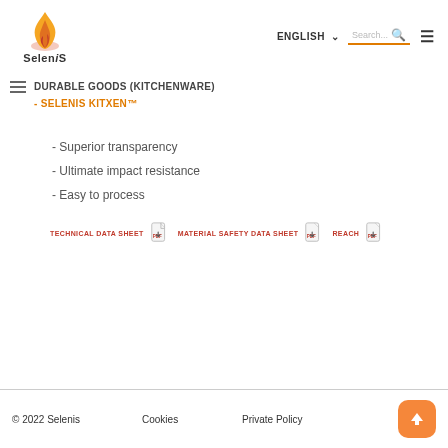[Figure (logo): Selenis flame logo with text 'Selenis']
ENGLISH ∨   Search...   ☰
DURABLE GOODS (KITCHENWARE)
- SELENIS KITXEN™
- Superior transparency
- Ultimate impact resistance
- Easy to process
TECHNICAL DATA SHEET  [PDF]  MATERIAL SAFETY DATA SHEET  [PDF]  REACH  [PDF]
© 2022 Selenis    Cookies    Private Policy